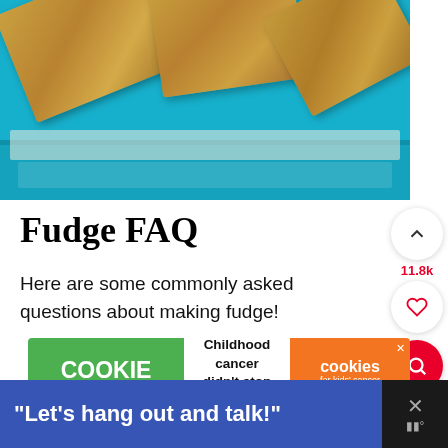[Figure (photo): Fudge pieces in a blue tray, close-up photo]
Fudge FAQ
Here are some commonly asked questions about making fudge!
[Figure (other): Cookie Dough advertisement: Childhood cancer didn't stop for COVID-19. Cookies for Kids Cancer. GET BAKING.]
[Figure (other): Bottom banner ad: "Let's hang out and talk!" with close button]